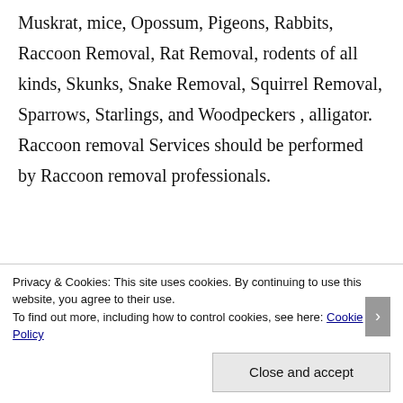Muskrat, mice, Opossum, Pigeons, Rabbits, Raccoon Removal, Rat Removal, rodents of all kinds, Skunks, Snake Removal, Squirrel Removal, Sparrows, Starlings, and Woodpeckers , alligator. Raccoon removal Services should be performed by Raccoon removal professionals.
Privacy & Cookies: This site uses cookies. By continuing to use this website, you agree to their use. To find out more, including how to control cookies, see here: Cookie Policy
Close and accept